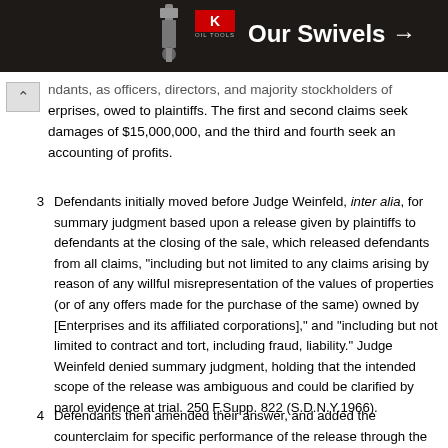[Figure (other): King Oil Tools advertisement banner showing swivel tool image, King logo in red, and text 'Our Swivels →' on dark background]
ndants, as officers, directors, and majority stockholders of erprises, owed to plaintiffs. The first and second claims seek damages of $15,000,000, and the third and fourth seek an accounting of profits.
3  Defendants initially moved before Judge Weinfeld, inter alia, for summary judgment based upon a release given by plaintiffs to defendants at the closing of the sale, which released defendants from all claims, "including but not limited to any claims arising by reason of any willful misrepresentation of the values of properties (or of any offers made for the purchase of the same) owned by [Enterprises and its affiliated corporations]," and "including but not limited to contract and tort, including fraud, liability." Judge Weinfeld denied summary judgment, holding that the intended scope of the release was ambiguous and could be clarified by parol evidence at trial. 250 F.Supp. 822 (S.D.N.Y.1966).
4  Defendants then amended their answer, and added the counterclaim for specific performance of the release through the injunction against